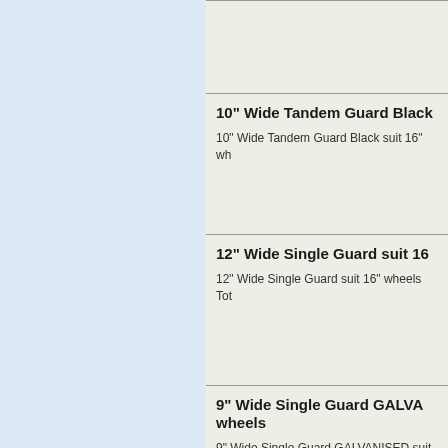10" Wide Tandem Guard Black
10" Wide Tandem Guard Black suit 16" wh
12" Wide Single Guard suit 16
12" Wide Single Guard suit 16" wheels Tot
9" Wide Single Guard GALVANISED suit 1 wheels
9" Wide Single Guard GALVANISED suit 1
9" Wide Tandem Guard GALVA